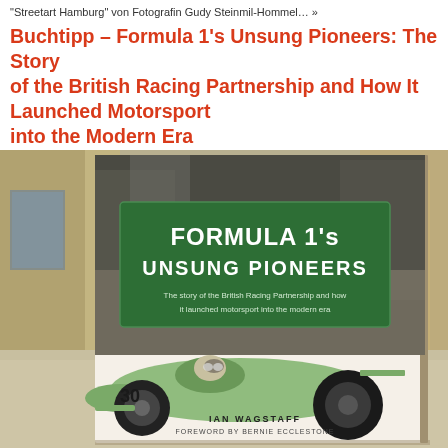"Streetart Hamburg" von Fotografin Gudy Steinmil-Hommel… »
Buchtipp – Formula 1's Unsung Pioneers: The Story of the British Racing Partnership and How It Launched Motorsport into the Modern Era
[Figure (photo): Book cover of 'Formula 1's Unsung Pioneers' by Ian Wagstaff, foreword by Bernie Ecclestone. Shows a light green vintage Formula 1 racing car with number 30, with green title banner on a dark background.]